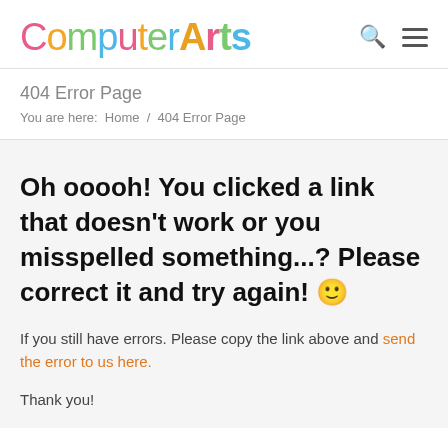ComputerArts [logo with search and menu icons]
404 Error Page
You are here:  Home  /  404 Error Page
Oh ooooh! You clicked a link that doesn't work or you misspelled something...? Please correct it and try again! 🙂
If you still have errors. Please copy the link above and send the error to us here.
Thank you!